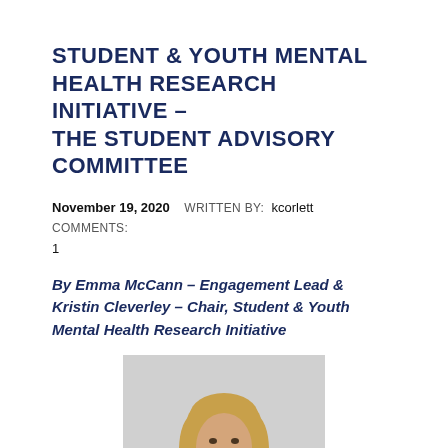STUDENT & YOUTH MENTAL HEALTH RESEARCH INITIATIVE – THE STUDENT ADVISORY COMMITTEE
November 19, 2020   WRITTEN BY:  kcorlett   COMMENTS: 1
By Emma McCann – Engagement Lead & Kristin Cleverley – Chair, Student & Youth Mental Health Research Initiative
[Figure (photo): Professional headshot photo of a smiling woman with long blonde hair wearing a dark jacket, against a light grey background]